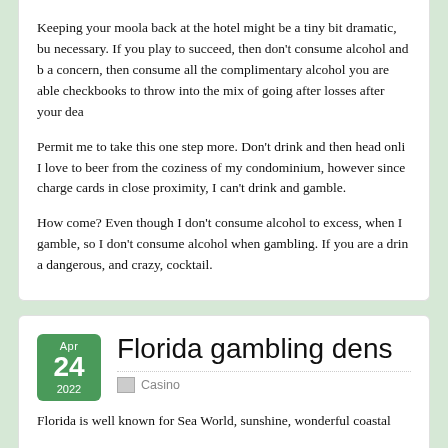Keeping your moola back at the hotel might be a tiny bit dramatic, but necessary. If you play to succeed, then don't consume alcohol and b... a concern, then consume all the complimentary alcohol you are able... checkbooks to throw into the mix of going after losses after your dea...
Permit me to take this one step more. Don't drink and then head onli... I love to beer from the coziness of my condominium, however since ... charge cards in close proximity, I can't drink and gamble.
How come? Even though I don't consume alcohol to excess, when I... gamble, so I don't consume alcohol when gambling. If you are a drin... a dangerous, and crazy, cocktail.
Florida gambling dens
Florida is well known for Sea World, sunshine, wonderful coastal...